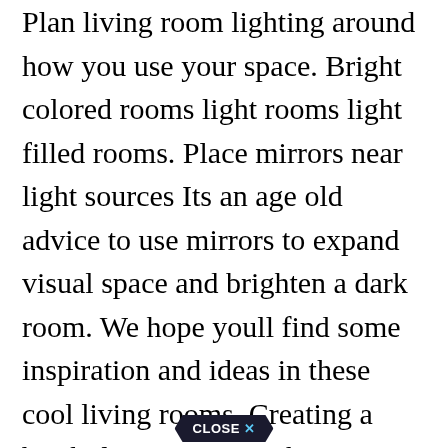Plan living room lighting around how you use your space. Bright colored rooms light rooms light filled rooms. Place mirrors near light sources Its an age old advice to use mirrors to expand visual space and brighten a dark room. We hope youll find some inspiration and ideas in these cool living rooms. Creating a bright living room ambience is not difficult. The black and white decor and natural wood floors reflect the light well making the space really light up.
CLOSE X